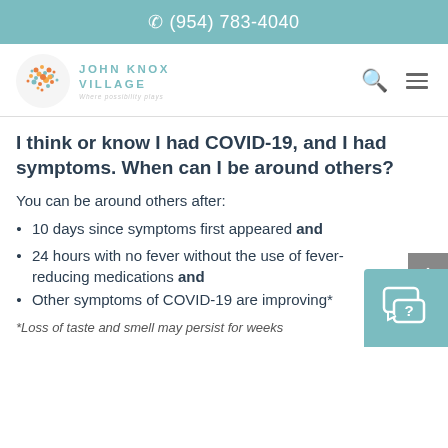(954) 783-4040
[Figure (logo): John Knox Village logo with colorful circular dot pattern and teal text reading JOHN KNOX VILLAGE, Where possibility plays]
I think or know I had COVID-19, and I had symptoms. When can I be around others?
You can be around others after:
10 days since symptoms first appeared and
24 hours with no fever without the use of fever-reducing medications and
Other symptoms of COVID-19 are improving*
*Loss of taste and smell may persist for weeks